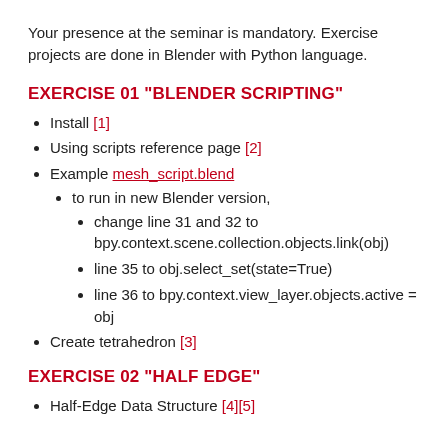Your presence at the seminar is mandatory. Exercise projects are done in Blender with Python language.
EXERCISE 01 "BLENDER SCRIPTING"
Install [1]
Using scripts reference page [2]
Example mesh_script.blend
to run in new Blender version,
change line 31 and 32 to bpy.context.scene.collection.objects.link(obj)
line 35 to obj.select_set(state=True)
line 36 to bpy.context.view_layer.objects.active = obj
Create tetrahedron [3]
EXERCISE 02 "HALF EDGE"
Half-Edge Data Structure [4][5]